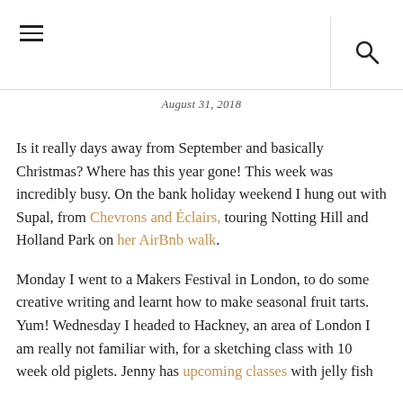≡  🔍
August 31, 2018
Is it really days away from September and basically Christmas?  Where has this year gone!  This week was incredibly busy.  On the bank holiday weekend I hung out with Supal, from Chevrons and Éclairs, touring Notting Hill and Holland Park on her AirBnb walk.
Monday I went to a Makers Festival in London, to do some creative writing and learnt how to make seasonal fruit tarts.  Yum!  Wednesday I headed to Hackney, an area of London I am really not familiar with, for a sketching class with 10 week old piglets.  Jenny has upcoming classes with jelly fish